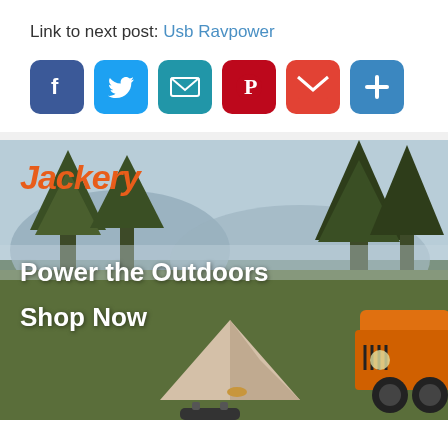Link to next post: Usb Ravpower
[Figure (infographic): Social media sharing buttons: Facebook (blue), Twitter (light blue), Email (teal), Pinterest (dark red), Gmail (red/white M), Plus/More (blue)]
[Figure (photo): Jackery advertisement banner showing outdoor scene with trees, mountains, a tent and orange Jeep vehicle. Text reads 'Jackery' in orange italic, 'Power the Outdoors', 'Shop Now' in white bold text.]